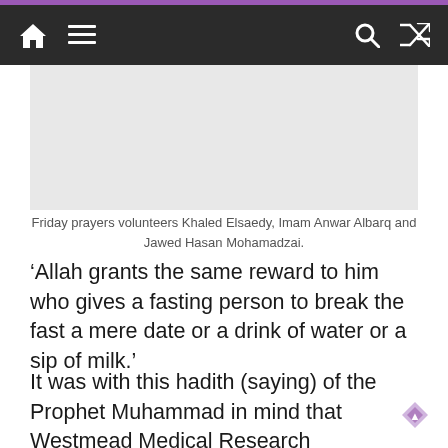Navigation bar with home, menu, search, and shuffle icons
[Figure (photo): Photo placeholder of Friday prayers volunteers Khaled Elsaedy, Imam Anwar Albarq and Jawed Hasan Mohamadzai]
Friday prayers volunteers Khaled Elsaedy, Imam Anwar Albarq and Jawed Hasan Mohamadzai.
‘Allah grants the same reward to him who gives a fasting person to break the fast a mere date or a drink of water or a sip of milk.’
It was with this hadith (saying) of the Prophet Muhammad in mind that Westmead Medical Research Foundation greeted Muslim staff and visitors with a bottle of water and